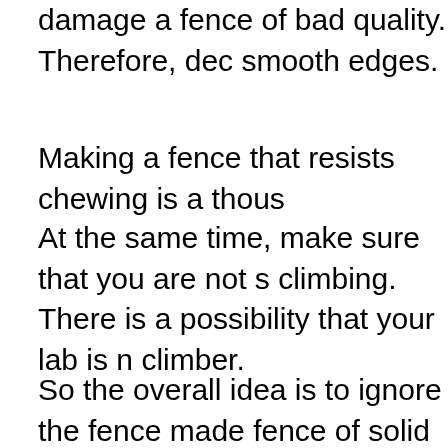damage a fence of bad quality. Therefore, dec smooth edges.
Making a fence that resists chewing is a thous
At the same time, make sure that you are not s climbing. There is a possibility that your lab is n climber.
So the overall idea is to ignore the fence made fence of solid and flat surface so that it will not
Along with, keep the planter and birdbath away out of the fence.
Furthermore, the height of the fence will increa is which. No when i was a recommendation for